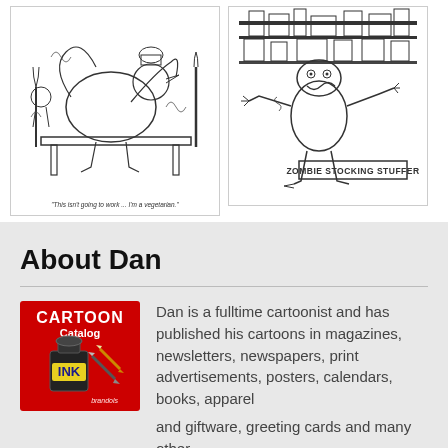[Figure (illustration): Black and white cartoon of chaotic cooking scene with animals. Caption reads: "This isn't going to work ... I'm a vegetarian."]
"This isn't going to work ... I'm a vegetarian."
[Figure (illustration): Black and white cartoon labeled 'ZOMBIE STOCKING STUFFER' showing a zombie-themed scene.]
About Dan
[Figure (logo): Cartoon Catalog INK logo — red background with cartoon ink bottle and pens, text reads CARTOON Catalog INK]
Dan is a fulltime cartoonist and has published his cartoons in magazines, newsletters, newspapers, print advertisements, posters, calendars, books, apparel and giftware, greeting cards and many other